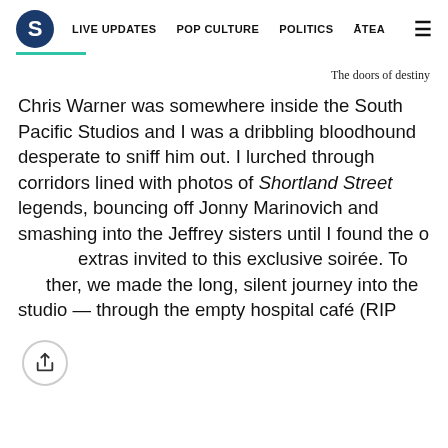S  LIVE UPDATES  POP CULTURE  POLITICS  ĀTEA  ☰
The doors of destiny
Chris Warner was somewhere inside the South Pacific Studios and I was a dribbling bloodhound desperate to sniff him out. I lurched through corridors lined with photos of Shortland Street legends, bouncing off Jonny Marinovich and smashing into the Jeffrey sisters until I found the o[ther] extras invited to this exclusive soirée. Together, we made the long, silent journey into the studio — through the empty hospital café (RIP